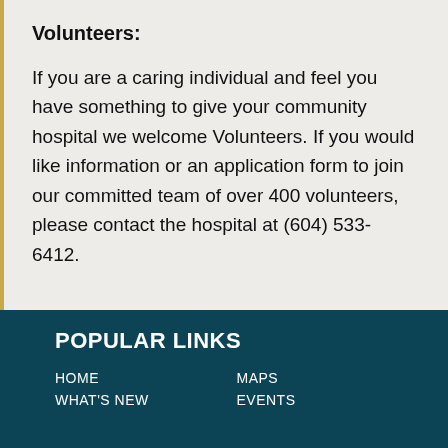Volunteers:
If you are a caring individual and feel you have something to give your community hospital we welcome Volunteers. If you would like information or an application form to join our committed team of over 400 volunteers, please contact the hospital at (604) 533-6412.
POPULAR LINKS
HOME
MAPS
WHAT'S NEW
EVENTS